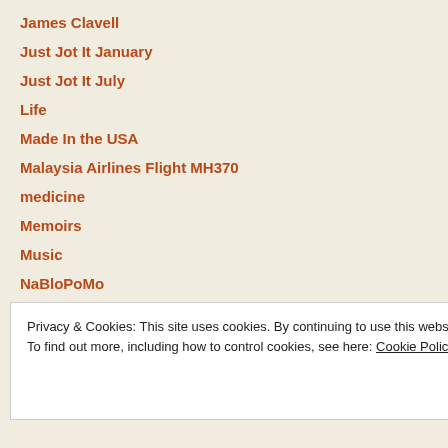James Clavell
Just Jot It January
Just Jot It July
Life
Made In the USA
Malaysia Airlines Flight MH370
medicine
Memoirs
Music
NaBloPoMo
Nana Pohlane
Privacy & Cookies: This site uses cookies. By continuing to use this website, you agree to their use. To find out more, including how to control cookies, see here: Cookie Policy
Close and accept